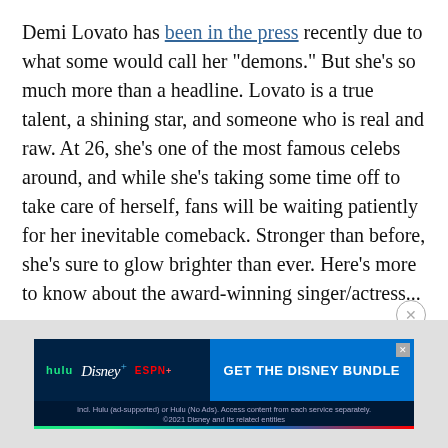Demi Lovato has been in the press recently due to what some would call her "demons." But she's so much more than a headline. Lovato is a true talent, a shining star, and someone who is real and raw. At 26, she's one of the most famous celebs around, and while she's taking some time off to take care of herself, fans will be waiting patiently for her inevitable comeback. Stronger than before, she's sure to glow brighter than ever. Here's more to know about the award-winning singer/actress...
That Voice
[Figure (screenshot): Disney Bundle advertisement banner showing Hulu, Disney+, and ESPN+ logos with 'GET THE DISNEY BUNDLE' call-to-action button and fine print text.]